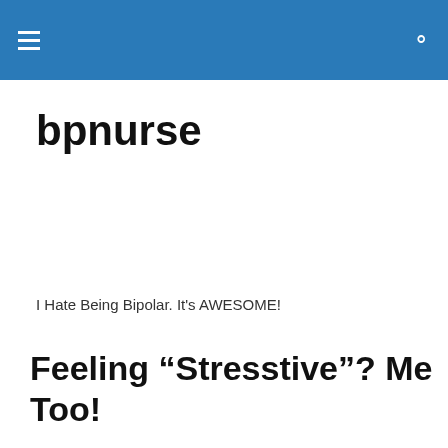bpnurse — navigation header bar
bpnurse
I Hate Being Bipolar. It's AWESOME!
Feeling “Stresstive”? Me Too!
Yeah, that’s a word I made up. I’m stressed out, but I feel festive too and am enjoying the holiday atmosphere that
Privacy & Cookies: This site uses cookies. By continuing to use this website, you agree to their use.
To find out more, including how to control cookies, see here: Cookie Policy

Close and accept